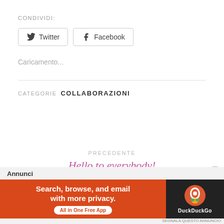CONDIVIDI:
[Figure (other): Share buttons for Twitter and Facebook]
Caricamento...
CATEGORIE  COLLABORAZIONI
PRECEDENTE
Hello to everybody!
[Figure (other): DuckDuckGo advertisement banner: Search, browse, and email with more privacy. All in One Free App]